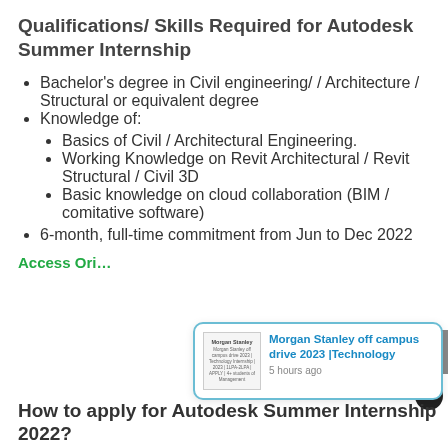Qualifications/ Skills Required for Autodesk Summer Internship
Bachelor's degree in Civil engineering/ / Architecture / Structural or equivalent degree
Knowledge of:
Basics of Civil / Architectural Engineering.
Working Knowledge on Revit Architectural / Revit Structural / Civil 3D
Basic knowledge on cloud collaboration (BIM / comitative software)
6-month, full-time commitment from Jun to Dec 2022
Access Ori…
[Figure (screenshot): Morgan Stanley off campus drive 2023 |Technology notification popup thumbnail]
How to apply for Autodesk Summer Internship 2022?